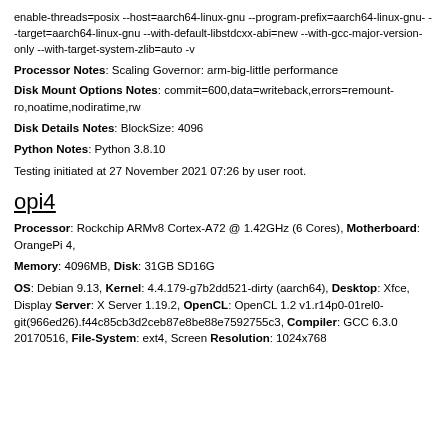enable-threads=posix --host=aarch64-linux-gnu --program-prefix=aarch64-linux-gnu- --target=aarch64-linux-gnu --with-default-libstdcxx-abi=new --with-gcc-major-version-only --with-target-system-zlib=auto -v
Processor Notes: Scaling Governor: arm-big-little performance
Disk Mount Options Notes: commit=600,data=writeback,errors=remount-ro,noatime,nodiratime,rw
Disk Details Notes: BlockSize: 4096
Python Notes: Python 3.8.10
Testing initiated at 27 November 2021 07:26 by user root.
opi4
Processor: Rockchip ARMv8 Cortex-A72 @ 1.42GHz (6 Cores), Motherboard: OrangePi 4,
Memory: 4096MB, Disk: 31GB SD16G
OS: Debian 9.13, Kernel: 4.4.179-g7b2dd521-dirty (aarch64), Desktop: Xfce, Display Server: X Server 1.19.2, OpenCL: OpenCL 1.2 v1.r14p0-01rel0-git(966ed26).f44c85cb3d2ceb87e8be88e7592755c3, Compiler: GCC 6.3.0 20170516, File-System: ext4, Screen Resolution: 1024x768